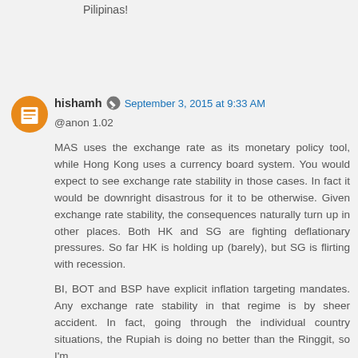Pilipinas!
hishamh — September 3, 2015 at 9:33 AM
@anon 1.02

MAS uses the exchange rate as its monetary policy tool, while Hong Kong uses a currency board system. You would expect to see exchange rate stability in those cases. In fact it would be downright disastrous for it to be otherwise. Given exchange rate stability, the consequences naturally turn up in other places. Both HK and SG are fighting deflationary pressures. So far HK is holding up (barely), but SG is flirting with recession.

BI, BOT and BSP have explicit inflation targeting mandates. Any exchange rate stability in that regime is by sheer accident. In fact, going through the individual country situations, the Rupiah is doing no better than the Ringgit, so I'm